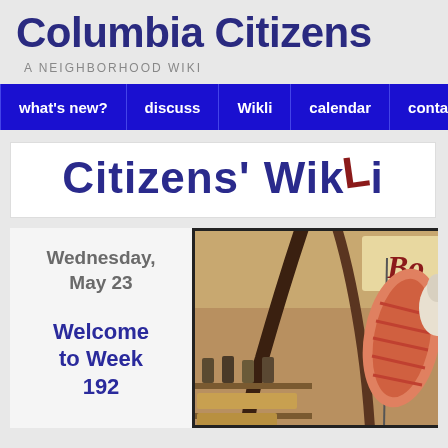Columbia Citizens
A NEIGHBORHOOD WIKI
what's new? | discuss | Wikli | calendar | contact
[Figure (logo): Citizens' Wikli logo with stylized tilted red L]
Wednesday, May 23
Welcome to Week 192
[Figure (photo): Interior of a deli or butcher shop showing hanging meat (rack of ribs or similar cut) and shelves with bottles in the background]